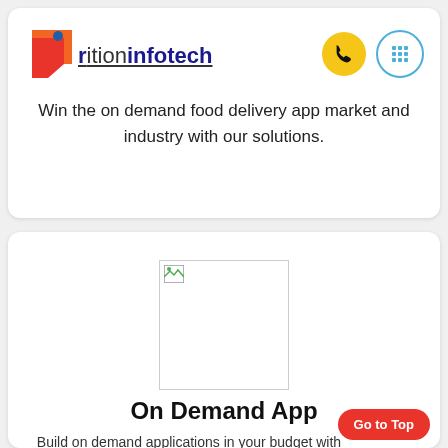[Figure (logo): Arition Infotech logo with red/orange arrow icon and underlined text, plus phone and grid nav icons]
Win the on demand food delivery app market and industry with our solutions.
[Figure (photo): Broken image placeholder (white box with small broken image icon)]
On Demand App
Build on demand applications in your budget with